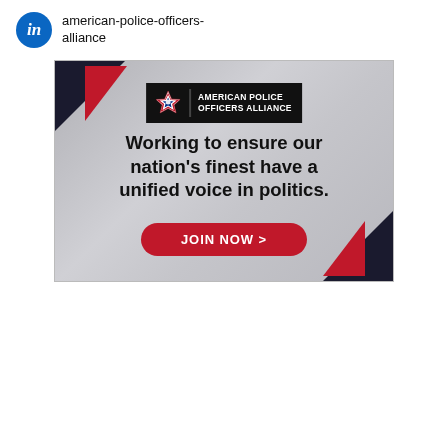american-police-officers-alliance
[Figure (infographic): American Police Officers Alliance advertisement banner with dark navy and red corner triangle decorations on a blurred car interior background. Contains the organization logo, tagline 'Working to ensure our nation's finest have a unified voice in politics.' and a red JOIN NOW > button.]